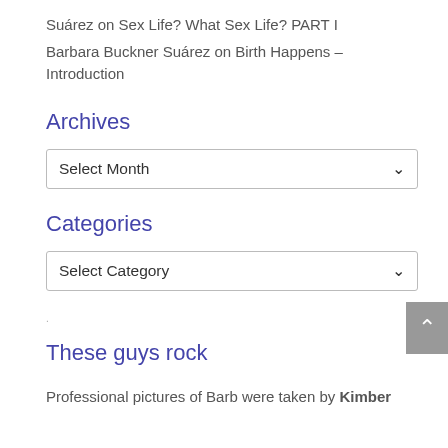Suárez on Sex Life? What Sex Life? PART I
Barbara Buckner Suárez on Birth Happens – Introduction
Archives
Select Month (dropdown)
Categories
Select Category (dropdown)
These guys rock
Professional pictures of Barb were taken by Kimber